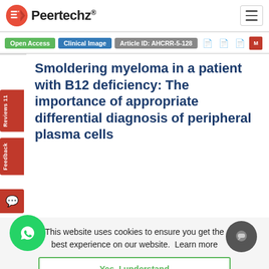Peertechz®
Open Access | Clinical Image | Article ID: AHCRR-5-128
Smoldering myeloma in a patient with B12 deficiency: The importance of appropriate differential diagnosis of peripheral plasma cells
[Figure (logo): Google Scholar logo badge with blue 'g' icon and multicolored Google text]
This website uses cookies to ensure you get the best experience on our website. Learn more
Yes, I understand